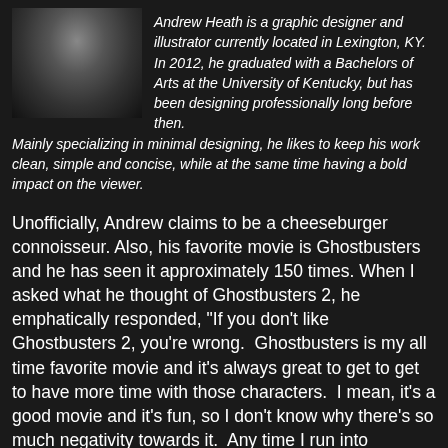[Figure (photo): Partial photo of a person, cropped at top of page, showing upper portion of a figure against dark background]
Andrew Heath is a graphic designer and illustrator currently located in Lexington, KY. In 2012, he graduated with a Bachelors of Arts at the University of Kentucky, but has been designing professionally long before then. Mainly specializing in minimal designing, he likes to keep his work clean, simple and concise, while at the same time having a bold impact on the viewer.
Unofficially, Andrew claims to be a cheeseburger connoisseur. Also, his favorite movie is Ghostbusters and he has seen it approximately 150 times. When I asked what he thought of Ghostbusters 2, he emphatically responded, "If you don't like Ghostbusters 2, you're wrong.  Ghostbusters is my all time favorite movie and it's always great to get to get to have more time with those characters.  I mean, it's a good movie and it's fun, so I don't know why there's so much negativity towards it.  Any time I run into someone who dislikes Ghostbusters 2, I always ask the question, 'Well...Would you rather there not